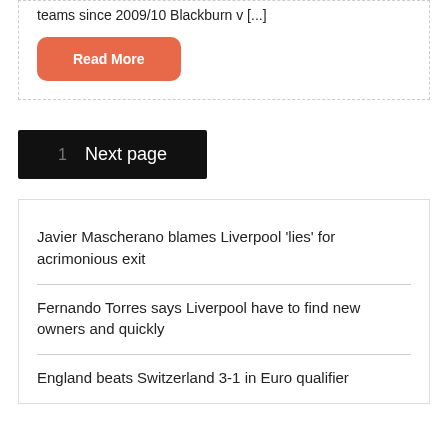teams since 2009/10 Blackburn v [...]
Read More
1   Next page
Javier Mascherano blames Liverpool 'lies' for acrimonious exit
Fernando Torres says Liverpool have to find new owners and quickly
England beats Switzerland 3-1 in Euro qualifier